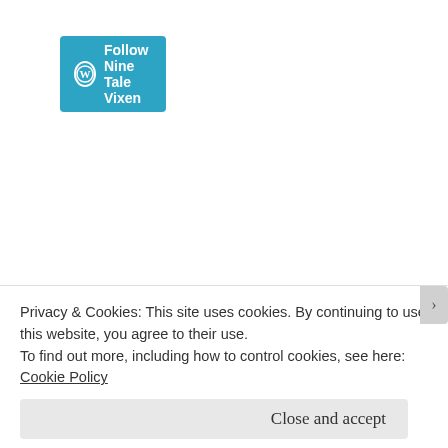[Figure (screenshot): WordPress Follow button for Nine Tale Vixen blog - teal/cyan button with WordPress logo (W in circle) and text 'Follow Nine Tale Vixen']
[Figure (screenshot): Feedly follow button - green rounded rectangle with Feedly icon (diamond with f) on left and 'Follow on feedly' text]
[Figure (screenshot): Bloglovin button - black rectangle with '+BLOGLOVIN\'' text in white bold font]
[Figure (screenshot): Ko-fi support button - blue button with heart/coffee cup icon and 'Support Me on Ko-fi' text]
📖 Currently Reading
Privacy & Cookies: This site uses cookies. By continuing to use this website, you agree to their use.
To find out more, including how to control cookies, see here: Cookie Policy
Close and accept